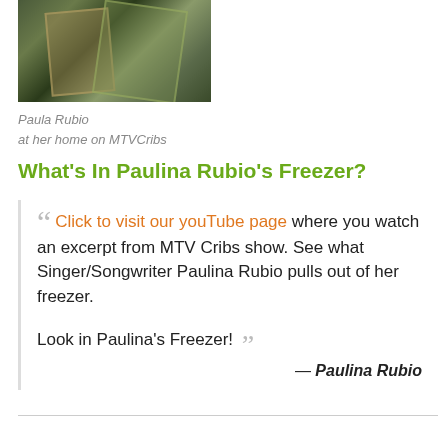[Figure (photo): Photo of Paula Rubio at her home on MTV Cribs, showing a dark-toned image with metallic/ladder-like structures]
Paula Rubio
at her home on MTVCribs
What's In Paulina Rubio's Freezer?
Click to visit our youTube page where you watch an excerpt from MTV Cribs show. See what Singer/Songwriter Paulina Rubio pulls out of her freezer.

Look in Paulina's Freezer!

— Paulina Rubio